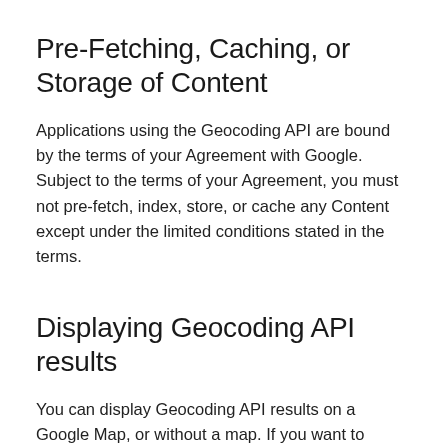Pre-Fetching, Caching, or Storage of Content
Applications using the Geocoding API are bound by the terms of your Agreement with Google. Subject to the terms of your Agreement, you must not pre-fetch, index, store, or cache any Content except under the limited conditions stated in the terms.
Displaying Geocoding API results
You can display Geocoding API results on a Google Map, or without a map. If you want to display Geocoding API results on a map, then these results must be displayed on a Google Map. It is prohibited to use Geocoding API data on a map that is not a Google map.